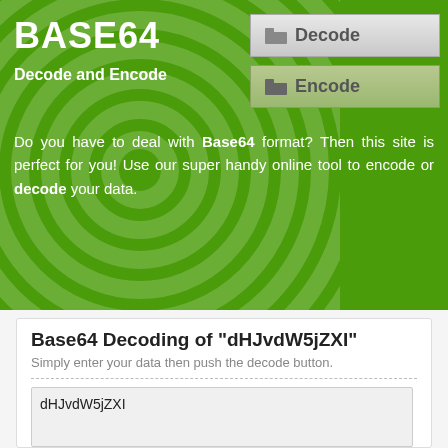BASE64
Decode and Encode
Decode
Encode
Do you have to deal with Base64 format? Then this site is perfect for you! Use our super handy online tool to encode or decode your data.
Base64 Decoding of "dHJvdW5jZXI"
Simply enter your data then push the decode button.
dHJvdW5jZXI